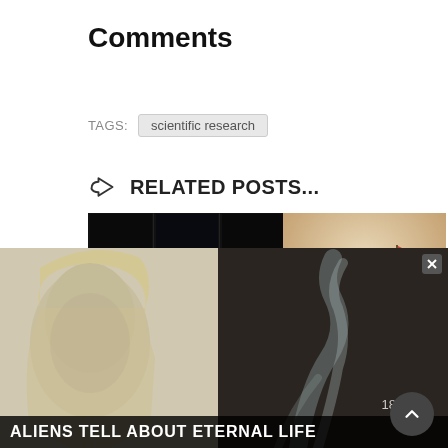Comments
TAGS: scientific research
👍 RELATED POSTS...
[Figure (photo): Two rows of thumbnails: left side shows three dark panels each with a glowing UFO orb (white/blue/red hues on black background); right side shows a sepia-toned historical painting of sailing ships at sea.]
Australia UFO Changes
On This Day In History: San Domingo ght – On February
[Figure (photo): Overlay advertisement banner showing a woman's face on the left and a smoky figure on the right, with bold white text at the bottom reading 'ALIENS TELL ABOUT ETERNAL LIFE'. A small close button (X) appears at top right of the overlay, and a scroll-to-top button appears at bottom right of the page.]